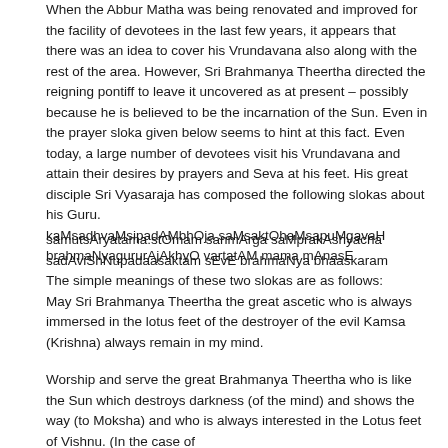When the Abbur Matha was being renovated and improved for the facility of devotees in the last few years, it appears that there was an idea to cover his Vrundavana also along with the rest of the area. However, Sri Brahmanya Theertha directed the reigning pontiff to leave it uncovered as at present – possibly because he is believed to be the incarnation of the Sun. Even in the prayer sloka given below seems to hint at this fact. Even today, a large number of devotees visit his Vrundavana and attain their desires by prayers and Seva at his feet. His great disciple Sri Vyasaraja has composed the following slokas about his Guru.
kaMsadhvaMsipadAMbhOja saMsaktOhaMsapuMgavaH
brahmaNyagururAjAkhyO vartatAM mama mAnasE
samutsAryatama:stOmam sanmArga saMprakAshyacha
sadAviShNupadaasaktam sEvE brahmaNya bhaaskaram
The simple meanings of these two slokas are as follows:
May Sri Brahmanya Theertha the great ascetic who is always immersed in the lotus feet of the destroyer of the evil Kamsa (Krishna) always remain in my mind.
Worship and serve the great Brahmanya Theertha who is like the Sun which destroys darkness (of the mind) and shows the way (to Moksha) and who is always interested in the Lotus feet of Vishnu. (In the case of